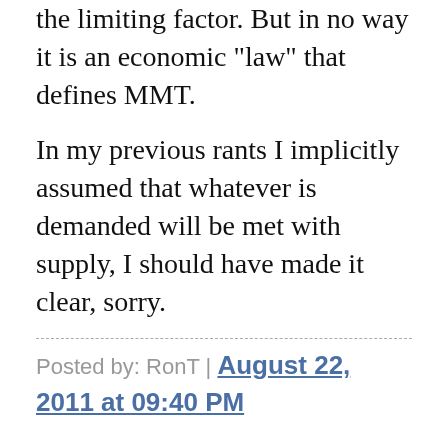the limiting factor. But in no way it is an economic "law" that defines MMT.
In my previous rants I implicitly assumed that whatever is demanded will be met with supply, I should have made it clear, sorry.
Posted by: RonT | August 22, 2011 at 09:40 PM
Ron: "How much is bought/sold will be determined by the smaller of the two: Y=min(supply, demand)."
Good so far. (If I wanted to be picky I would say it should be min{*quantity* supplied;